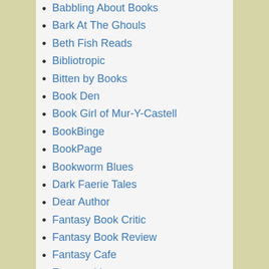Babbling About Books
Bark At The Ghouls
Beth Fish Reads
Bibliotropic
Bitten by Books
Book Den
Book Girl of Mur-Y-Castell
BookBinge
BookPage
Bookworm Blues
Dark Faerie Tales
Dear Author
Fantasy Book Critic
Fantasy Book Review
Fantasy Cafe
Fantasy Literature
Ginger Nuts of Horror
Jenn's Bookshelves
Joyfully Reviewed
Kendall Reviews
Kirkus Book Reviews